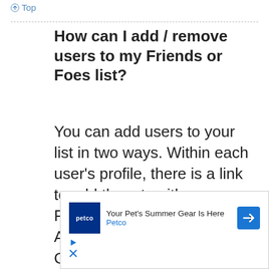Top
How can I add / remove users to my Friends or Foes list?
You can add users to your list in two ways. Within each user’s profile, there is a link to add them to either your Friend or Foe list. Alternatively, from your User Control Panel, you can directly add users by entering their member name.
[Figure (other): Petco advertisement banner: logo, text 'Your Pet’s Summer Gear Is Here', 'Petco', arrow icon, play and close control icons]